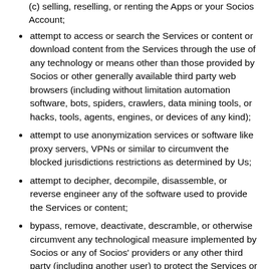(c) selling, reselling, or renting the Apps or your Socios Account;
attempt to access or search the Services or content or download content from the Services through the use of any technology or means other than those provided by Socios or other generally available third party web browsers (including without limitation automation software, bots, spiders, crawlers, data mining tools, or hacks, tools, agents, engines, or devices of any kind);
attempt to use anonymization services or software like proxy servers, VPNs or similar to circumvent the blocked jurisdictions restrictions as determined by Us;
attempt to decipher, decompile, disassemble, or reverse engineer any of the software used to provide the Services or content;
bypass, remove, deactivate, descramble, or otherwise circumvent any technological measure implemented by Socios or any of Socios' providers or any other third party (including another user) to protect the Services or content;
use, display, mirror, or frame the Services, Features or...